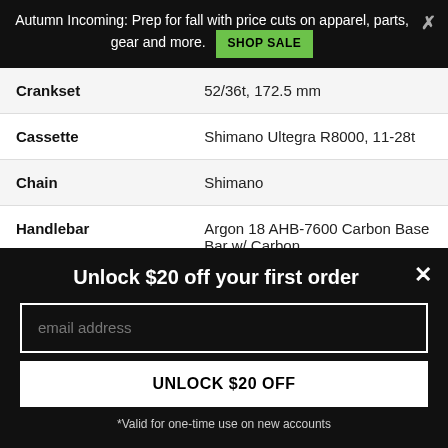Autumn Incoming: Prep for fall with price cuts on apparel, parts, gear and more. SHOP SALE
| Component | Specification |
| --- | --- |
| Crankset | 52/36t, 172.5 mm |
| Cassette | Shimano Ultegra R8000, 11-28t |
| Chain | Shimano |
| Handlebar | Argon 18 AHB-7600 Carbon Base Bar w/ Carbon |
Unlock $20 off your first order
email address
UNLOCK $20 OFF
*Valid for one-time use on new accounts